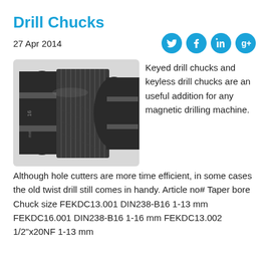Drill Chucks
27 Apr 2014
[Figure (photo): Close-up photo of a drill chuck showing knurled grip and metal body]
Keyed drill chucks and keyless drill chucks are an useful addition for any magnetic drilling machine.
Although hole cutters are more time efficient, in some cases the old twist drill still comes in handy. Article no# Taper bore Chuck size FEKDC13.001 DIN238-B16 1-13 mm FEKDC16.001 DIN238-B16 1-16 mm FEKDC13.002 1/2"x20NF 1-13 mm